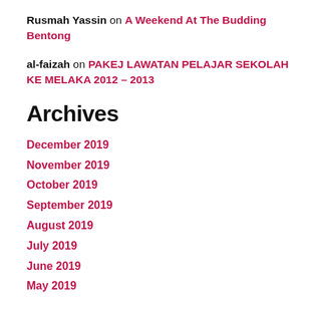Rusmah Yassin on A Weekend At The Budding Bentong
al-faizah on PAKEJ LAWATAN PELAJAR SEKOLAH KE MELAKA 2012 – 2013
Archives
December 2019
November 2019
October 2019
September 2019
August 2019
July 2019
June 2019
May 2019